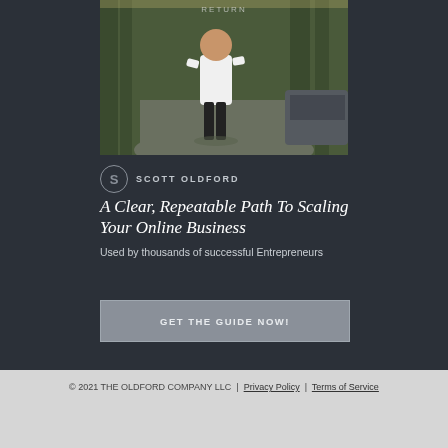[Figure (photo): A man in a white shirt and dark pants walking on a path outdoors, surrounded by trees, with a car partially visible on the right side.]
SCOTT OLDFORD
A Clear, Repeatable Path To Scaling Your Online Business
Used by thousands of successful Entrepreneurs
GET THE GUIDE NOW!
© 2021 THE OLDFORD COMPANY LLC | Privacy Policy | Terms of Service